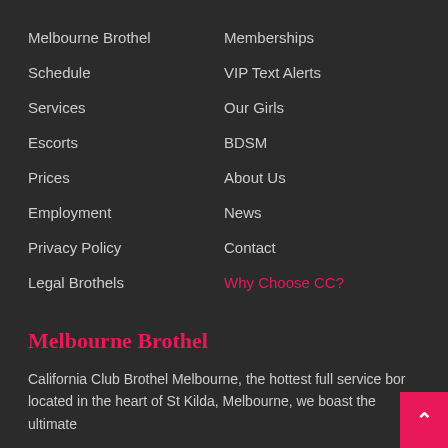Melbourne Brothel
Schedule
Services
Escorts
Prices
Employment
Privacy Policy
Legal Brothels
Memberships
VIP Text Alerts
Our Girls
BDSM
About Us
News
Contact
Why Choose CC?
Melbourne Brothel
California Club Brothel Melbourne, the hottest full service bor located in the heart of St Kilda, Melbourne, we boast the ultimate